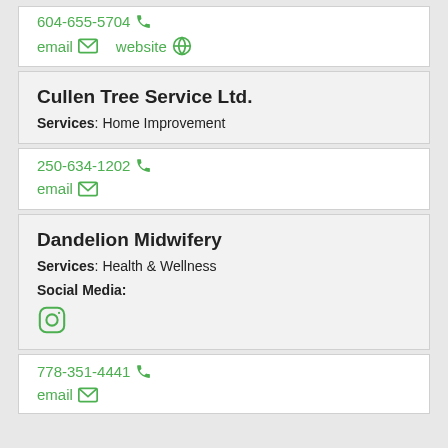604-655-5704 | email | website
Cullen Tree Service Ltd. | Services: Home Improvement
250-634-1202 | email
Dandelion Midwifery | Services: Health & Wellness | Social Media: [Instagram]
778-351-4441 | email